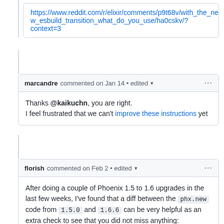https://www.reddit.com/r/elixir/comments/p9t68v/with_the_new_esbuild_transition_what_do_you_use/ha0cskv/?context=3
marcandre commented on Jan 14 • edited
Thanks @kaikuchn, you are right.
I feel frustrated that we can't improve these instructions yet
florish commented on Feb 2 • edited
After doing a couple of Phoenix 1.5 to 1.6 upgrades in the last few weeks, I've found that a diff between the phx.new code from 1.5.0 and 1.6.6 can be very helpful as an extra check to see that you did not miss anything:
https://utils.zest.dev/gendiff/phx_new/62953723EA6DCD4A95D027D4EB99CBAA